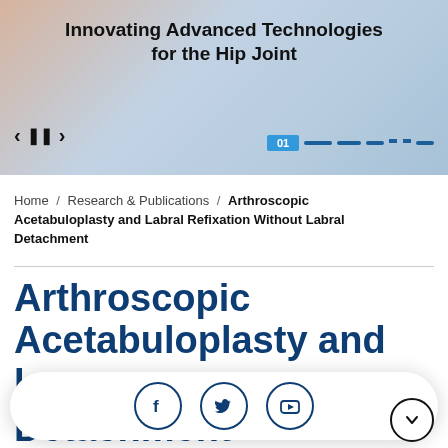[Figure (photo): Hero banner image showing hip joint medical/surgical context with orange and blue-grey tones, containing text 'Innovating Advanced Technologies for the Hip Joint' with slide navigation controls and indicator]
Home / Research & Publications / Arthroscopic Acetabuloplasty and Labral Refixation Without Labral Detachment
Arthroscopic Acetabuloplasty and Labral Refixation Without Labral Detachment